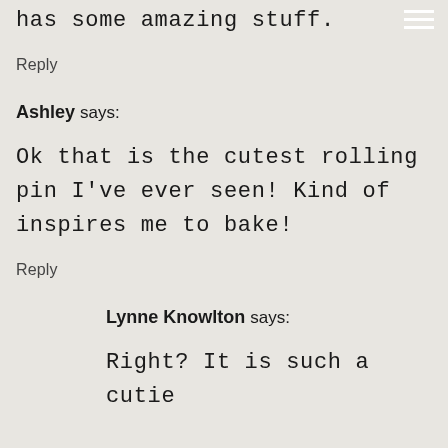has some amazing stuff.
Reply
Ashley says:
Ok that is the cutest rolling pin I've ever seen! Kind of inspires me to bake!
Reply
Lynne Knowlton says:
Right? It is such a cutie